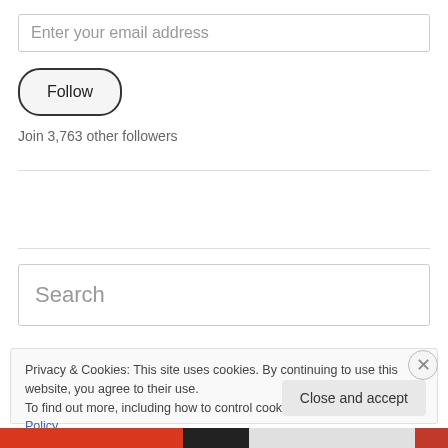Enter your email address
Follow
Join 3,763 other followers
Search
Privacy & Cookies: This site uses cookies. By continuing to use this website, you agree to their use.
To find out more, including how to control cookies, see here: Cookie Policy
Close and accept